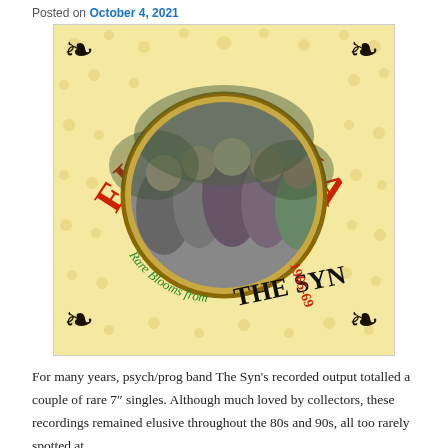Posted on October 4, 2021
[Figure (illustration): Album cover for 'Flowerman – Rare Blooms from The Syn 1965-69'. Cream/yellow floral patterned background with ornate black decorative corner flourishes. Large red/orange text 'FLOWERMAN' arched across top. Circular black-and-white band photo in center with ornate gold frame. Green italic text 'Rare Blooms from' curves around bottom left of circle. Black bold text 'THE SYN' at bottom right. Red text '1965-69' at bottom right.]
For many years, psych/prog band The Syn's recorded output totalled a couple of rare 7″ singles. Although much loved by collectors, these recordings remained elusive throughout the 80s and 90s, all too rarely spotted at